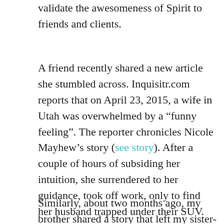validate the awesomeness of Spirit to friends and clients.
A friend recently shared a new article she stumbled across. Inquisitr.com reports that on April 23, 2015, a wife in Utah was overwhelmed by a “funny feeling”. The reporter chronicles Nicole Mayhew’s story (see story). After a couple of hours of subsiding her intuition, she surrendered to her guidance, took off work, only to find her husband trapped under their SUV. Nicole’s husband had been trapped under their SUV for an hour and half and suffered six broken ribs. She tells reporters, “I just believe a spirit told me.” “I believe that there’s angels around us. My Heavenly Father was with him.”
Similarly, about two months ago, my brother shared a story that left my sister-in-law, my wife, and me